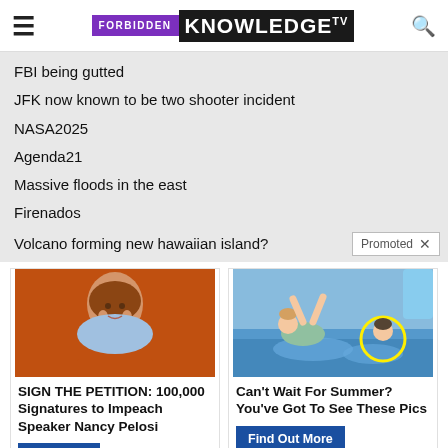FORBIDDEN KNOWLEDGE TV
FBI being gutted
JFK now known to be two shooter incident
NASA2025
Agenda21
Massive floods in the east
Firenados
Volcano forming new hawaiian island?
[Figure (photo): Photo of a woman (Nancy Pelosi) against orange background]
SIGN THE PETITION: 100,000 Signatures to Impeach Speaker Nancy Pelosi
[Figure (photo): Photo of children in a pool with a yellow circle highlighting one child]
Can't Wait For Summer? You've Got To See These Pics